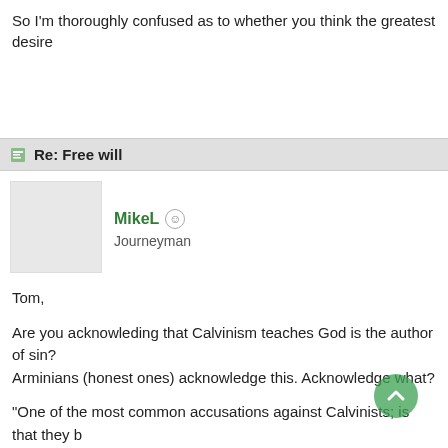So I'm thoroughly confused as to whether you think the greatest desire
Re: Free will
MikeL
Journeyman
Tom,
Are you acknowleding that Calvinism teaches God is the author of sin? Arminians (honest ones) acknowledge this. Acknowledge what?
"One of the most common accusations against Calvinists; is that they b way, this is fairly understandable, if they actually took the time to study w the case at all. On that note, I have even heard a few honest Arminians